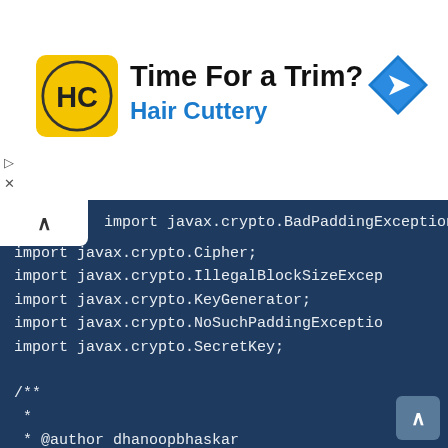[Figure (screenshot): Hair Cuttery advertisement banner with logo, 'Time For a Trim?' heading, 'Hair Cuttery' subtitle in blue, and a blue navigation arrow icon on the right.]
[Figure (screenshot): Java code snippet showing imports for javax.crypto package classes (BadPaddingException, Cipher, IllegalBlockSizeException, KeyGenerator, NoSuchPaddingException, SecretKey), a Javadoc comment block with @author dhanoopbhaskar, public class EncryptFile declaration, and KeyGenerator keyGenerator = null; field declaration. Dark blue background with monospace white text.]